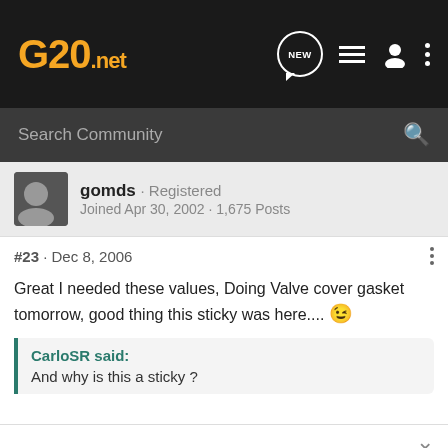G20.net
Search Community
gomds · Registered
Joined Apr 30, 2002 · 1,675 Posts
#23 · Dec 8, 2006
Great I needed these values, Doing Valve cover gasket tomorrow, good thing this sticky was here.... 😉
CarloSR said:
And why is this a sticky ?
Forum Feedback + paypal verified  Ebay Feedback